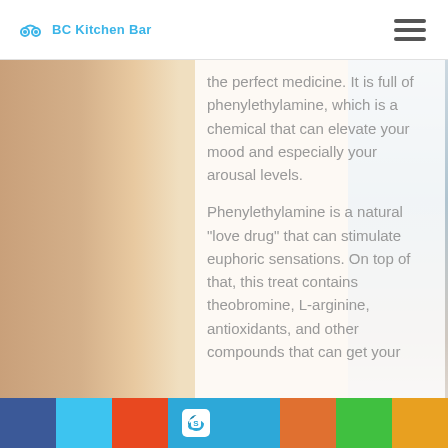BC Kitchen Bar
[Figure (photo): Close-up of a woman's face on the left side, blurred couple on the right side, serving as background image]
the perfect medicine. It is full of phenylethylamine, which is a chemical that can elevate your mood and especially your arousal levels.
Phenylethylamine is a natural “love drug” that can stimulate euphoric sensations. On top of that, this treat contains theobromine, L-arginine, antioxidants, and other compounds that can get your